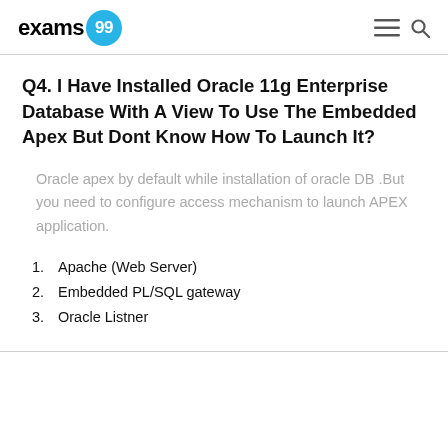exams99
Q4. I Have Installed Oracle 11g Enterprise Database With A View To Use The Embedded Apex But Dont Know How To Launch It?
Oracle apex by default while installation of oracle DB .But you need to configure access mechanism to launch APEX application.
1. Apache (Web Server)
2. Embedded PL/SQL gateway
3. Oracle Listner